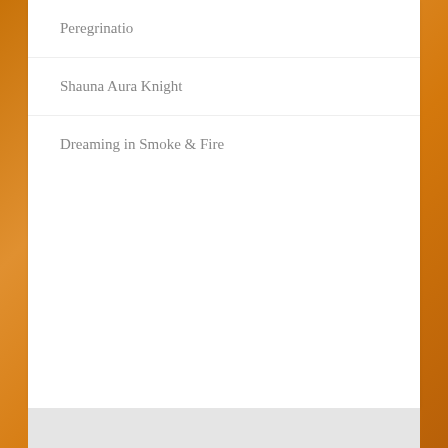Peregrinatio
Shauna Aura Knight
Dreaming in Smoke & Fire
Blog Stats
103,680 hits